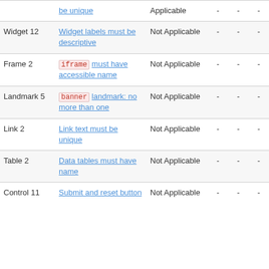| Type | Rule | Status | - | - | - | - | - |
| --- | --- | --- | --- | --- | --- | --- | --- |
|  | be unique | Applicable | - | - | - | - |  |
| Widget 12 | Widget labels must be descriptive | Not Applicable | - | - | - | - | 1 |
| Frame 2 | iframe must have accessible name | Not Applicable | - | - | - | - | - |
| Landmark 5 | banner landmark: no more than one | Not Applicable | - | - | - | - | - |
| Link 2 | Link text must be unique | Not Applicable | - | - | - | - | - |
| Table 2 | Data tables must have name | Not Applicable | - | - | - | - | - |
| Control 11 | Submit and reset button... | Not Applicable | - | - | - | - | - |